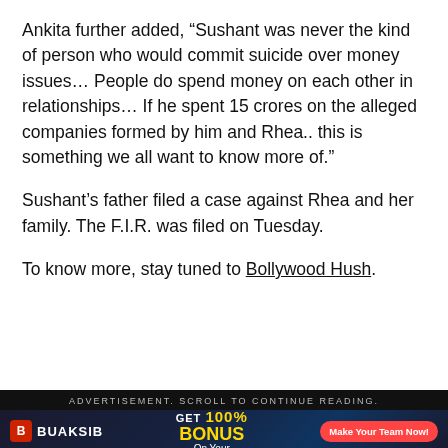Ankita further added, “Sushant was never the kind of person who would commit suicide over money issues… People do spend money on each other in relationships… If he spent 15 crores on the alleged companies formed by him and Rhea.. this is something we all want to know more of.”
Sushant’s father filed a case against Rhea and her family. The F.I.R. was filed on Tuesday.
To know more, stay tuned to Bollywood Hush.
ADVERTISEMENT. SCROLL TO CONTINUE READING.
[Figure (infographic): Advertisement banner for BUAKSIB with text GET 100% BONUS On Your and a red button Make Your Team Now!]